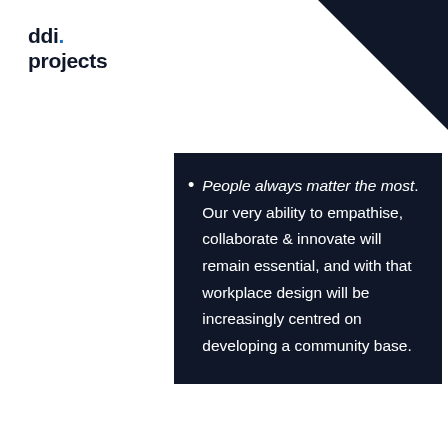ddi projects
People always matter the most. Our very ability to empathise, collaborate & innovate will remain essential, and with that workplace design will be increasingly centred on developing a community base.
Discover